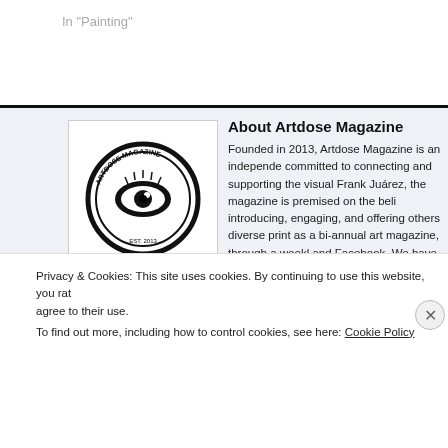In "Painting"
About Artdose Magazine
Founded in 2013, Artdose Magazine is an independent committed to connecting and supporting the visual Frank Juárez, the magazine is premised on the beli introducing, engaging, and offering others diverse print as a bi-annual art magazine, through a weekly and Facebook. We have expanded regionally effec Frank Juárez is a publisher, former gallery director author, and arts advocate living and working in She and regional art exhibitions, community art events, artists through professional development workshop networking has placed him in the forefront of adva
[Figure (logo): Artdose Magazine circular logo with eye illustration]
Privacy & Cookies: This site uses cookies. By continuing to use this website, you agree to their use.
To find out more, including how to control cookies, see here: Cookie Policy
Close and accept